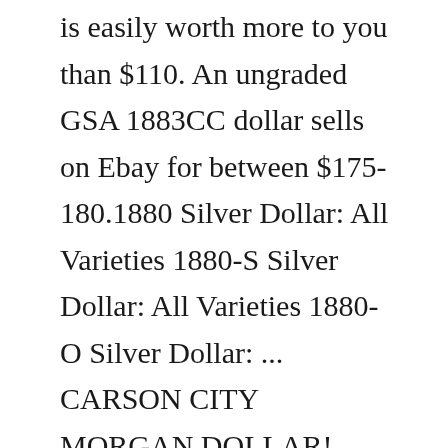is easily worth more to you than $110. An ungraded GSA 1883CC dollar sells on Ebay for between $175-180.1880 Silver Dollar: All Varieties 1880-S Silver Dollar: All Varieties 1880-O Silver Dollar: ... CARSON CITY MORGAN DOLLAR! ADDITIONAL SHIPPING IS ALWAYS FREE IN OUR STORE! $295.99. Seller: nickcast2004 Condition: Good to Very Good (improperly cleaned) 1881 GSA Morgan dollars.Greater Toronto Nationals.